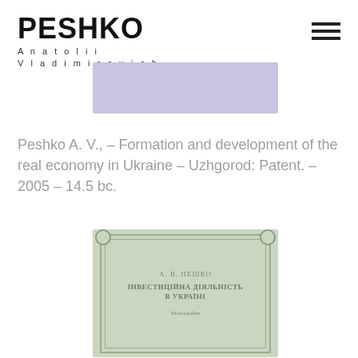PESHKO Anatolii Vladimirovich
[Figure (photo): Light purple/lavender book cover image (top, blurred)]
Peshko A. V., – Formation and development of the real economy in Ukraine – Uzhgorod: Patent. – 2005 – 14.5 bc.
[Figure (photo): Green book cover with Cyrillic text, ornamental border frame with corner decorations. Author: А. В. Пешко. Title in Cyrillic. Subtitle: Монографія.]